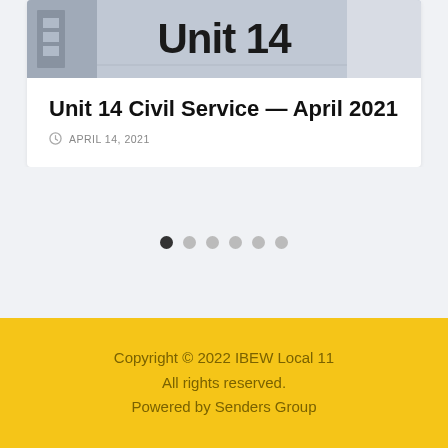[Figure (photo): Card with image showing 'Unit 14' text over a grey photo background]
Unit 14 Civil Service — April 2021
APRIL 14, 2021
[Figure (other): Pagination dots — 6 dots, first one filled dark, rest light grey]
Copyright © 2022 IBEW Local 11
All rights reserved.
Powered by Senders Group